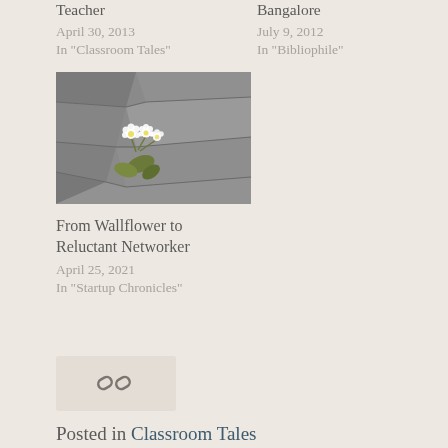Teacher
April 30, 2013
In "Classroom Tales"
Bangalore
July 9, 2012
In "Bibliophile"
[Figure (photo): White flowers growing through cracks in a stone/slate surface]
From Wallflower to Reluctant Networker
April 25, 2021
In "Startup Chronicles"
[Figure (other): Share icon (chain link) in a light beige box]
Posted in Classroom Tales